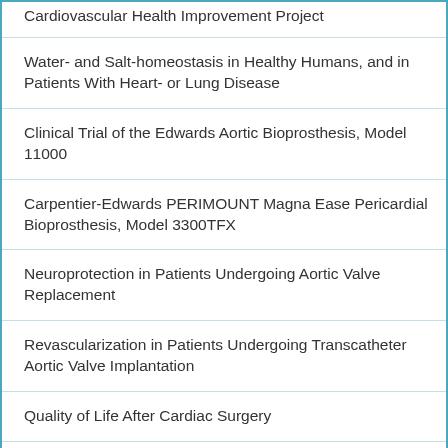| Cardiovascular Health Improvement Project |
| Water- and Salt-homeostasis in Healthy Humans, and in Patients With Heart- or Lung Disease |
| Clinical Trial of the Edwards Aortic Bioprosthesis, Model 11000 |
| Carpentier-Edwards PERIMOUNT Magna Ease Pericardial Bioprosthesis, Model 3300TFX |
| Neuroprotection in Patients Undergoing Aortic Valve Replacement |
| Revascularization in Patients Undergoing Transcatheter Aortic Valve Implantation |
| Quality of Life After Cardiac Surgery |
| Transfusion Requirements in Transcatheter Aortic Valve Implantation (TRITAVI) Study |
| Progel Vascular Sealant |